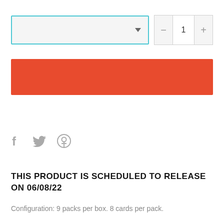[Figure (screenshot): Dropdown selector with teal/cyan border and quantity control with minus, 1, plus buttons]
[Figure (screenshot): Red/orange add to cart button]
[Figure (screenshot): Social sharing icons: Facebook (f), Twitter (bird), Pinterest (P)]
THIS PRODUCT IS SCHEDULED TO RELEASE ON 06/08/22
Configuration: 9 packs per box. 8 cards per pack.